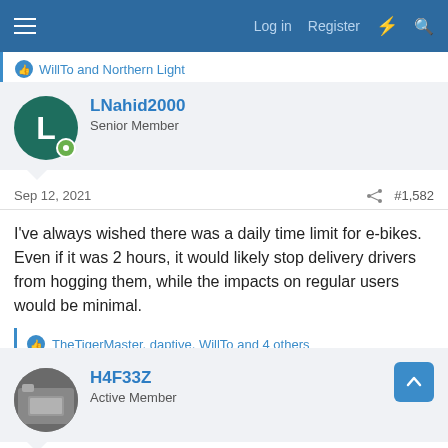Log in  Register
WillTo and Northern Light
LNahid2000
Senior Member
Sep 12, 2021  #1,582
I've always wished there was a daily time limit for e-bikes. Even if it was 2 hours, it would likely stop delivery drivers from hogging them, while the impacts on regular users would be minimal.
TheTigerMaster, daptive, WillTo and 4 others
H4F33Z
Active Member
Sep 12, 2021  #1,583